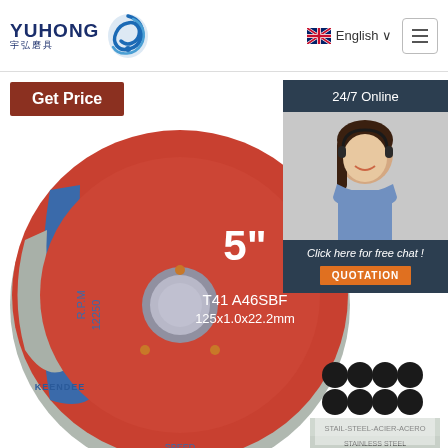[Figure (logo): Yuhong 宇弘磨具 logo with blue swirl graphic]
English ∨
Get Price
24/7 Online
[Figure (photo): Cutting disc / grinding wheel labeled: 5", T41 A46SBF, 125x1.0x22.2mm, R.P.M 12250, KEENDEE brand, STAIL-STEEL-ACIER-ACERO STAINLESS STEEL]
[Figure (photo): Customer service representative with headset smiling]
Click here for free chat !
QUOTATION